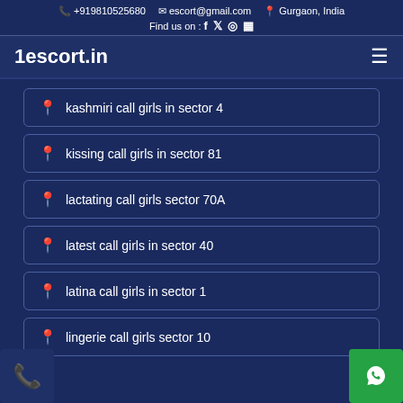+919810525680  escort@gmail.com  Gurgaon, India  Find us on : [social icons]
1escort.in
kashmiri call girls in sector 4
kissing call girls in sector 81
lactating call girls sector 70A
latest call girls in sector 40
latina call girls in sector 1
lingerie call girls sector 10